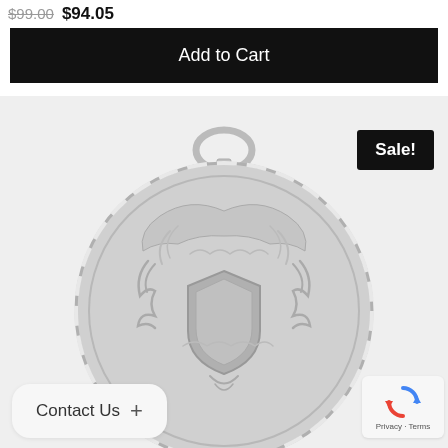$99.00 $94.05
Add to Cart
[Figure (photo): Silver engraved pocket watch shown from the back, with ornate floral scrollwork and a shield-shaped cartouche, chain loop at top]
Sale!
Contact Us +
[Figure (other): reCAPTCHA widget showing spinning arrows icon and Privacy - Terms text]